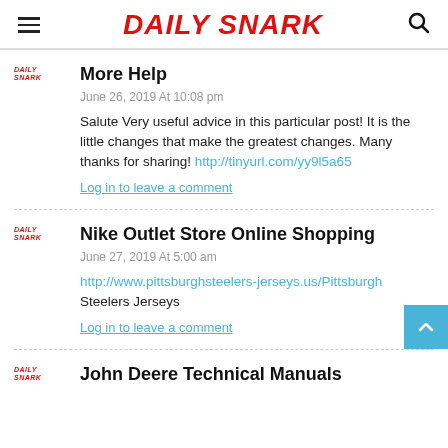DAILY SNARK
More Help
June 26, 2019 At 10:08 pm
Salute Very useful advice in this particular post! It is the little changes that make the greatest changes. Many thanks for sharing! http://tinyurl.com/yy9l5a65
Log in to leave a comment
Nike Outlet Store Online Shopping
June 27, 2019 At 5:00 am
http://www.pittsburghsteelers-jerseys.us/Pittsburgh Steelers Jerseys
Log in to leave a comment
John Deere Technical Manuals